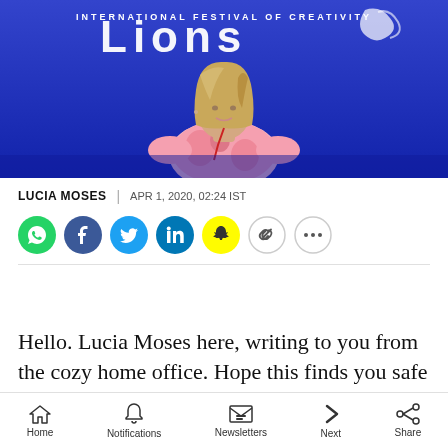[Figure (photo): Woman in pink floral dress sitting on stage at Cannes Lions International Festival of Creativity, blue purple background with festival branding]
LUCIA MOSES | APR 1, 2020, 02:24 IST
[Figure (infographic): Social media share buttons: WhatsApp, Facebook, Twitter, LinkedIn, Snapchat, Link, More]
Hello. Lucia Moses here, writing to you from the cozy home office. Hope this finds you safe and